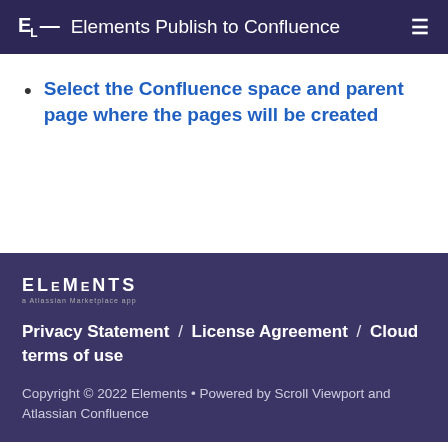Elements Publish to Confluence
Select the Confluence space and parent page where the pages will be created
[Figure (logo): Elements logo in white text on dark purple footer background]
Privacy Statement / License Agreement / Cloud terms of use
Copyright © 2022 Elements • Powered by Scroll Viewport and Atlassian Confluence